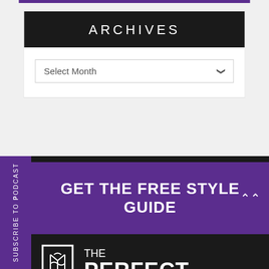ARCHIVES
Select Month
SUBSCRIBE TO PODCAST
GET THE FREE STYLE GUIDE
[Figure (logo): The Perfect logo with shield icon and text 'THE PERFECT']